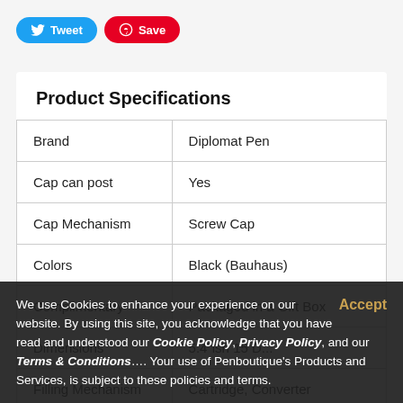[Figure (other): Tweet and Save/Pinterest social sharing buttons]
Product Specifications
|  |  |
| --- | --- |
| Brand | Diplomat Pen |
| Cap can post | Yes |
| Cap Mechanism | Screw Cap |
| Colors | Black (Bauhaus) |
| Complimentary | Packaged in a Gift Box |
| Dimensions | 5.4"ish 15 D... |
| Filling Mechanism | Cartridge, Converter |
| Rewards Material | Chrome Finish |
We use Cookies to enhance your experience on our website. By using this site, you acknowledge that you have read and understood our Cookie Policy, Privacy Policy, and our Terms & Conditions.... Your use of Penboutique’s Products and Services, is subject to these policies and terms.